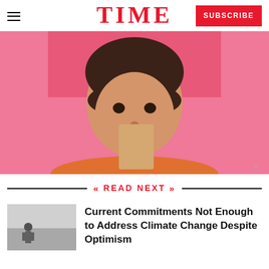TIME | SUBSCRIBE
[Figure (photo): Young woman with dark hair and bangs holding a tan/beige card near her face, smiling slightly, against a bright pink background, wearing an orange top.]
« READ NEXT »
[Figure (photo): Small thumbnail image of a person in a grey/smoggy outdoor scene.]
Current Commitments Not Enough to Address Climate Change Despite Optimism